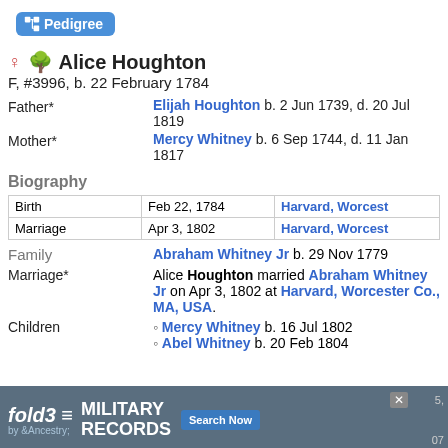Pedigree
Alice Houghton
F, #3996, b. 22 February 1784
Father* Elijah Houghton b. 2 Jun 1739, d. 20 Jul 1819
Mother* Mercy Whitney b. 6 Sep 1744, d. 11 Jan 1817
Biography
| Event | Date | Place |
| --- | --- | --- |
| Birth | Feb 22, 1784 | Harvard, Worcester |
| Marriage | Apr 3, 1802 | Harvard, Worcester |
Family Abraham Whitney Jr b. 29 Nov 1779
Marriage* Alice Houghton married Abraham Whitney Jr on Apr 3, 1802 at Harvard, Worcester Co., MA, USA.
Mercy Whitney b. 16 Jul 1802
Abel Whitney b. 20 Feb 1804
[Figure (infographic): fold3 Military Records advertisement banner by Ancestry]